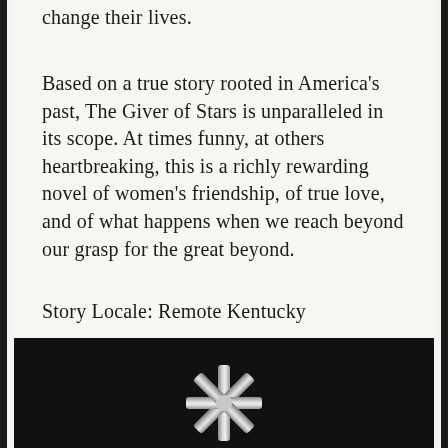change their lives.
Based on a true story rooted in America's past, The Giver of Stars is unparalleled in its scope. At times funny, at others heartbreaking, this is a richly rewarding novel of women's friendship, of true love, and of what happens when we reach beyond our grasp for the great beyond.
Story Locale: Remote Kentucky
[Figure (photo): Dark background with a metallic ribbon or folded star shape in the center, partially visible at the bottom of the page.]